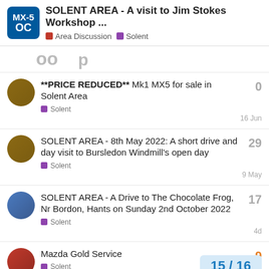SOLENT AREA - A visit to Jim Stokes Workshop ... | Area Discussion | Solent
oo p
**PRICE REDUCED** Mk1 MX5 for sale in Solent Area | Solent | 0 replies | 16 Jun
SOLENT AREA - 8th May 2022: A short drive and day visit to Bursledon Windmill's open day | Solent | 29 replies | 9 May
SOLENT AREA - A Drive to The Chocolate Frog, Nr Bordon, Hants on Sunday 2nd October 2022 | Solent | 17 replies | 4d
Mazda Gold Service | Solent | 9 replies | 15 / 16
SOLENT AREA - 3rd April 20...